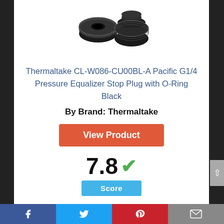[Figure (photo): Two black Thermaltake G1/4 Pressure Equalizer Stop Plug fittings with O-Rings, viewed from above at an angle]
Thermaltake CL-W086-CU00BL-A Pacific G1/4 Pressure Equalizer Stop Plug with O-Ring Black
By Brand: Thermaltake
View Product
7.8 ✓ Score
Facebook | Twitter | Pinterest | Email